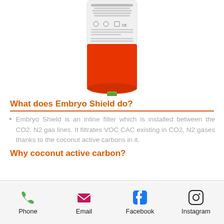[Figure (photo): A red cylindrical filter cartridge (Embryo Shield inline filter) with a white label at the top showing product information and regulatory symbols, and a small green fitting/connector at the bottom.]
What does Embryo Shield do?
Embryo Shield is an inline filter which is installed between the CO2, N2 gas lines. It filtrates VOC CAC existing in CO2, N2 gases thanks to the coconut active carbons in it.
Why coconut active carbon?
Phone  Email  Facebook  Instagram